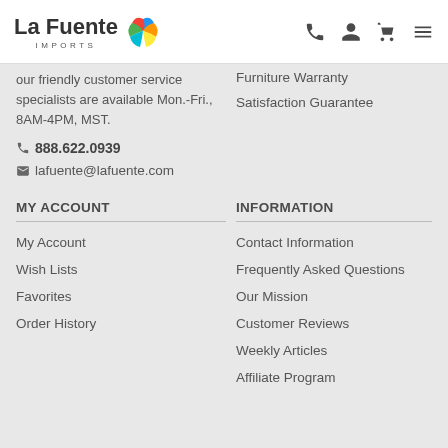[Figure (logo): La Fuente Imports logo with colorful leaf/feather icon]
our friendly customer service specialists are available Mon.-Fri., 8AM-4PM, MST.
☎ 888.622.0939
✉ lafuente@lafuente.com
Furniture Warranty
Satisfaction Guarantee
MY ACCOUNT
INFORMATION
My Account
Wish Lists
Favorites
Order History
Contact Information
Frequently Asked Questions
Our Mission
Customer Reviews
Weekly Articles
Affiliate Program